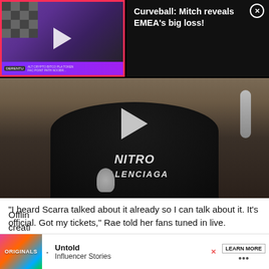[Figure (screenshot): Small video thumbnail showing a person with curly hair wearing headphones in a purple-themed studio, with pink border overlay. Adjacent black panel shows promo text.]
Curveball: Mitch reveals EMEA's big loss!
[Figure (screenshot): Large video thumbnail showing a woman with long dark hair in a black hoodie with 'NITRO BALENCIAGA' text, sitting in a gaming chair with microphone]
“I heard Scarra talked about it already so I can talk about it. It’s official. Got my tickets,” Rae told her fans tuned in live.
Offlin
creati
[Figure (screenshot): Advertisement banner with colorful Originals logo, Untold Influencer Stories text, and Learn More button]